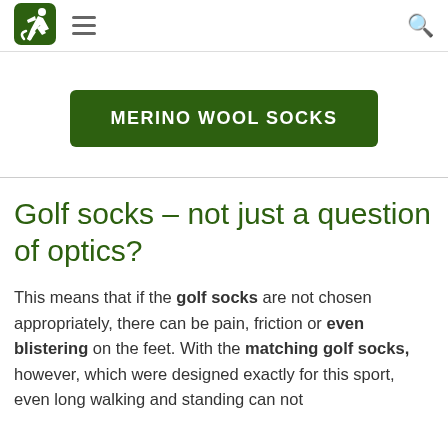MERINO WOOL SOCKS navigation header with logo, hamburger menu, and search icon
[Figure (other): Green rounded square logo with white running figure silhouette]
MERINO WOOL SOCKS
Golf socks – not just a question of optics?
This means that if the golf socks are not chosen appropriately, there can be pain, friction or even blistering on the feet. With the matching golf socks, however, which were designed exactly for this sport, even long walking and standing can not